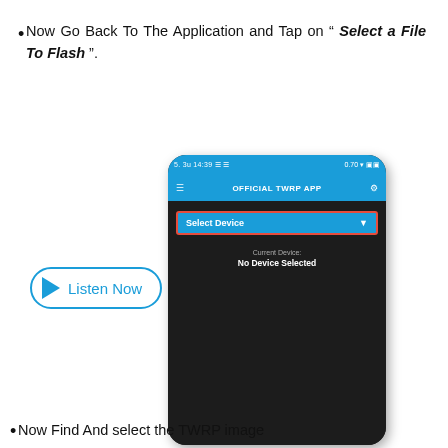Now Go Back To The Application and Tap on " Select a File To Flash ".
[Figure (screenshot): Screenshot of the OFFICIAL TWRP APP on an Android device showing a blue 'Select Device' dropdown with a red border, and below it 'Current Device: No Device Selected' text on a dark background.]
[Figure (other): A 'Listen Now' button with a blue play triangle icon and blue text, enclosed in a rounded blue border on white background.]
Now Find And select the TWRP image